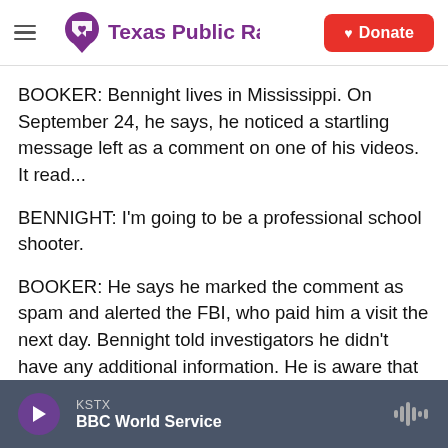Texas Public Radio — Donate
BOOKER: Bennight lives in Mississippi. On September 24, he says, he noticed a startling message left as a comment on one of his videos. It read...
BENNIGHT: I'm going to be a professional school shooter.
BOOKER: He says he marked the comment as spam and alerted the FBI, who paid him a visit the next day. Bennight told investigators he didn't have any additional information. He is aware that lots of people say outlandish things on the Internet, but it
KSTX — BBC World Service